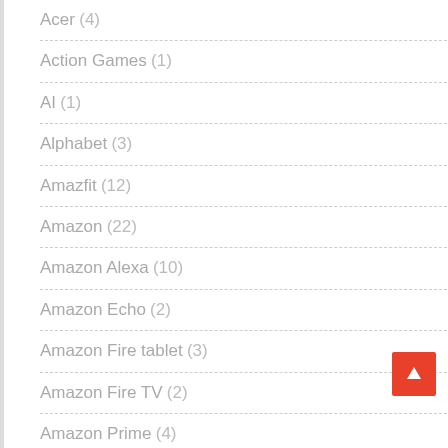Acer (4)
Action Games (1)
AI (1)
Alphabet (3)
Amazfit (12)
Amazon (22)
Amazon Alexa (10)
Amazon Echo (2)
Amazon Fire tablet (3)
Amazon Fire TV (2)
Amazon Prime (4)
Amazon Prime Day (2)
Amazon Prime Video (5)